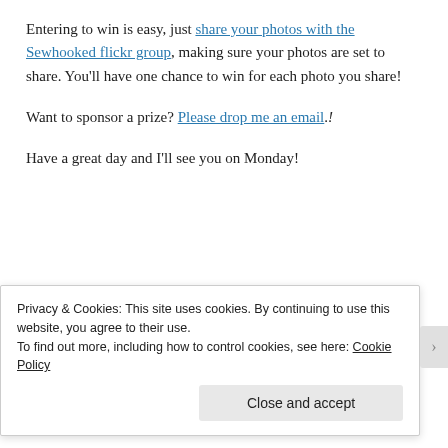Entering to win is easy, just share your photos with the Sewhooked flickr group, making sure your photos are set to share. You'll have one chance to win for each photo you share!
Want to sponsor a prize? Please drop me an email.!
Have a great day and I'll see you on Monday!
[Figure (other): Image placeholder box showing 'Sorry. This image is currently Unavailable']
Privacy & Cookies: This site uses cookies. By continuing to use this website, you agree to their use.
To find out more, including how to control cookies, see here: Cookie Policy
Close and accept